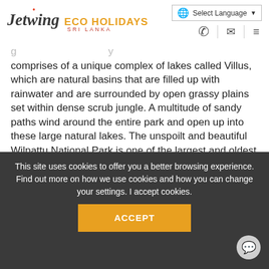Jetwing ECO HOLIDAYS SRI LANKA
comprises of a unique complex of lakes called Villus, which are natural basins that are filled up with rainwater and are surrounded by open grassy plains set within dense scrub jungle. A multitude of sandy paths wind around the entire park and open up into these large natural lakes. The unspoilt and beautiful Wilpattu National Park is one of the largest and oldest National Parks in Sri Lanka. It is ideal for those wanting to escape the flurry of activity of Yala and instead offers the opportunity for a tranquil, peaceful and undisturbed drive. The biggest draws in Wilpattu are
This site uses cookies to offer you a better browsing experience. Find out more on how we use cookies and how you can change your settings. I accept cookies.